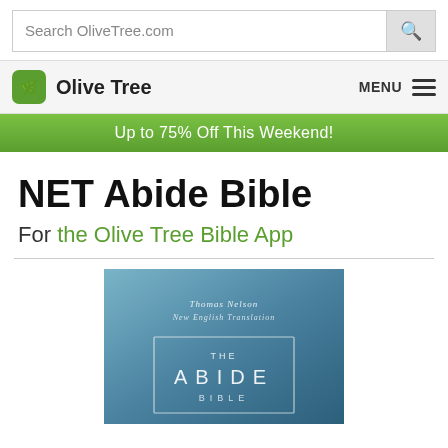Search OliveTree.com
Olive Tree  MENU
Up to 75% Off This Weekend!
NET Abide Bible
For the Olive Tree Bible App
[Figure (illustration): Book cover for The Abide Bible by Thomas Nelson, New English Translation. Gradient blue background with a white rectangle border containing the text 'THE ABIDE BIBLE' in white letters.]